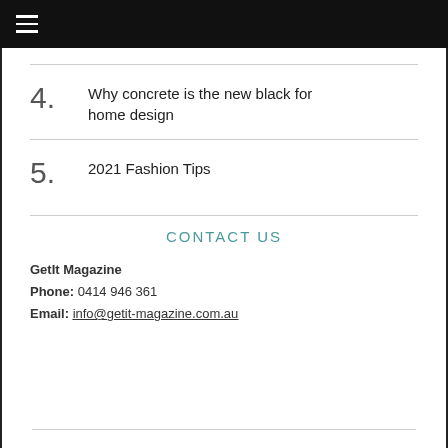☰
4. Why concrete is the new black for home design
5. 2021 Fashion Tips
CONTACT US
GetIt Magazine
Phone: 0414 946 361
Email: info@getit-magazine.com.au